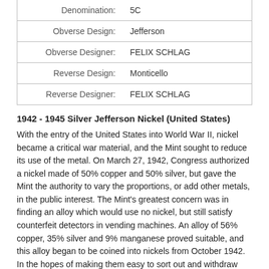| Label | Value |
| --- | --- |
| Denomination: | 5C |
| Obverse Design: | Jefferson |
| Obverse Designer: | FELIX SCHLAG |
| Reverse Design: | Monticello |
| Reverse Designer: | FELIX SCHLAG |
1942 - 1945 Silver Jefferson Nickel (United States)
With the entry of the United States into World War II, nickel became a critical war material, and the Mint sought to reduce its use of the metal. On March 27, 1942, Congress authorized a nickel made of 50% copper and 50% silver, but gave the Mint the authority to vary the proportions, or add other metals, in the public interest. The Mint's greatest concern was in finding an alloy which would use no nickel, but still satisfy counterfeit detectors in vending machines. An alloy of 56% copper, 35% silver and 9% manganese proved suitable, and this alloy began to be coined into nickels from October 1942. In the hopes of making them easy to sort out and withdraw after the war, the Mint struck all "war nickels" with a large mint mark appearing above Monticello. The mint mark P for Philadelphia was the first time that